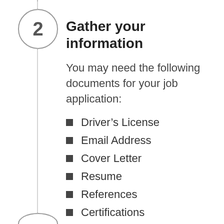2 Gather your information
You may need the following documents for your job application:
Driver's License
Email Address
Cover Letter
Resume
References
Certifications
License(s)
Transcripts